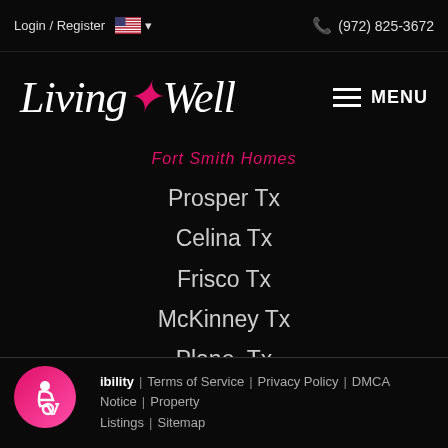Login / Register  🇺🇸 ▾  (972) 825-3672
[Figure (logo): Living Well logo with fleur-de-lis cross in pink, italic serif font, white text]
Fort Smith Homes
Prosper Tx
Celina Tx
Frisco Tx
McKinney Tx
Plano, Tx
TREC Consumer Protection Notice
Information About Brokerage Services
ibility | Terms of Service | Privacy Policy | DMCA Notice | Property Listings | Sitemap